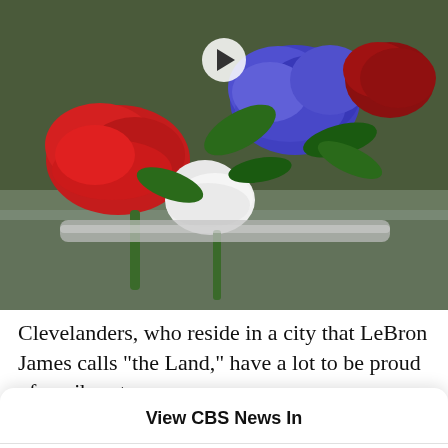[Figure (photo): Photo of red, white, and blue/purple roses and flowers on a metallic surface, with a video play button overlay]
Clevelanders, who reside in a city that LeBron James calls "the Land," have a lot to be proud of: a vibrant
View CBS News In
[Figure (logo): CBS News app icon — black background with CBS eye logo and CBS NEWS text]
CBS News App
[Figure (logo): Safari browser icon — compass needle on blue gradient background]
Safari